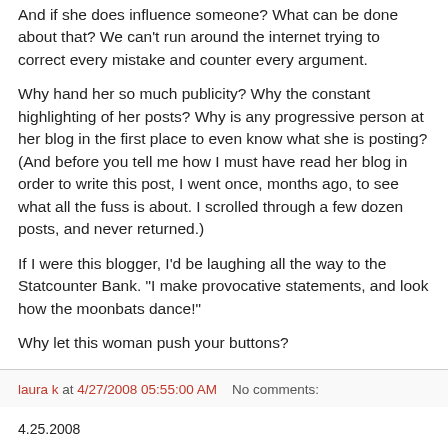And if she does influence someone? What can be done about that? We can't run around the internet trying to correct every mistake and counter every argument.
Why hand her so much publicity? Why the constant highlighting of her posts? Why is any progressive person at her blog in the first place to even know what she is posting? (And before you tell me how I must have read her blog in order to write this post, I went once, months ago, to see what all the fuss is about. I scrolled through a few dozen posts, and never returned.)
If I were this blogger, I'd be laughing all the way to the Statcounter Bank. "I make provocative statements, and look how the moonbats dance!"
Why let this woman push your buttons?
laura k at 4/27/2008 05:55:00 AM    No comments:
4.25.2008